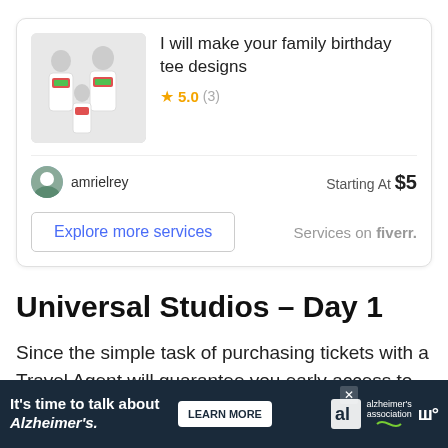[Figure (screenshot): Fiverr ad card showing a family birthday tee designs gig with product photo, 5.0 rating, seller amrielrey, starting at $5, and Explore more services button]
Universal Studios – Day 1
Since the simple task of purchasing tickets with a Travel Agent will guarantee you early access to the Wizarding World of Harry Potter, we are going to as...
[Figure (screenshot): Bottom advertisement banner: 'It's time to talk about Alzheimer's.' with LEARN MORE button, Alzheimer's Association logo, and close button]